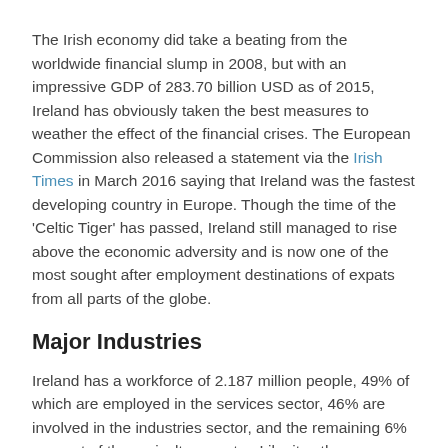The Irish economy did take a beating from the worldwide financial slump in 2008, but with an impressive GDP of 283.70 billion USD as of 2015, Ireland has obviously taken the best measures to weather the effect of the financial crises. The European Commission also released a statement via the Irish Times in March 2016 saying that Ireland was the fastest developing country in Europe. Though the time of the 'Celtic Tiger' has passed, Ireland still managed to rise above the economic adversity and is now one of the most sought after employment destinations of expats from all parts of the globe.
Major Industries
Ireland has a workforce of 2.187 million people, 49% of which are employed in the services sector, 46% are involved in the industries sector, and the remaining 6% are part of the agriculture sector. Like its other European